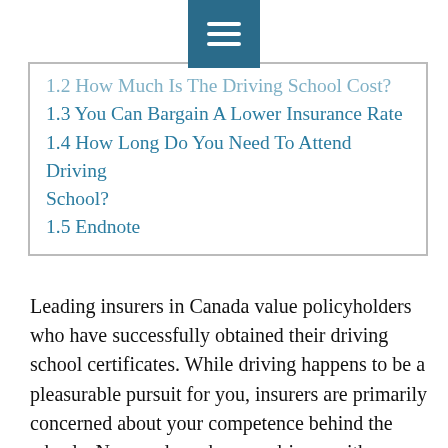1.2 How Much Is The Driving School Cost?
1.3 You Can Bargain A Lower Insurance Rate
1.4 How Long Do You Need To Attend Driving School?
1.5 Endnote
Leading insurers in Canada value policyholders who have successfully obtained their driving school certificates. While driving happens to be a pleasurable pursuit for you, insurers are primarily concerned about your competence behind the wheels. No wonder, why new drivers with a certificate from the recognized driving schools in Canada enjoy automobile insurance at discounted rates. In case you are just learning to drive, high insurance premiums may be bothering you for a while. The good news is, you can mitigate the premium that you had to otherwise shell out, once you complete your training